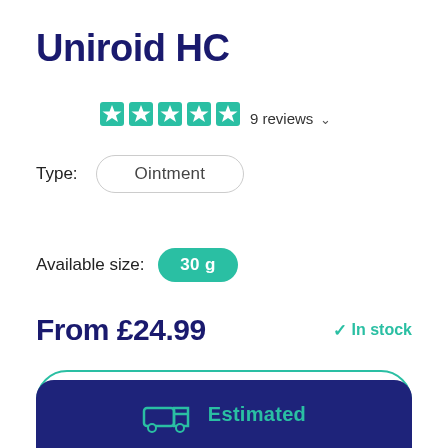Uniroid HC
9 reviews
Type: Ointment
Available size: 30 g
From £24.99  In stock
Start Consultation
Estimated